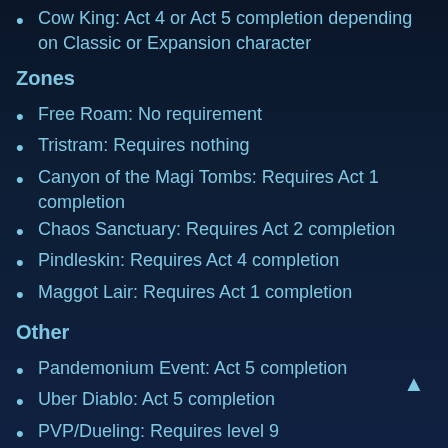Cow King: Act 4 or Act 5 completion depending on Classic or Expansion character
Zones
Free Roam: No requirement
Tristram: Requires nothing
Canyon of the Magi Tombs: Requires Act 1 completion
Chaos Sanctuary: Requires Act 2 completion
Pindleskin: Requires Act 4 completion
Maggot Lair: Requires Act 1 completion
Other
Pandemonium Event: Act 5 completion
Uber Diablo: Act 5 completion
PVP/Dueling: Requires level 9
Lastly, we've seen a lot of discussion